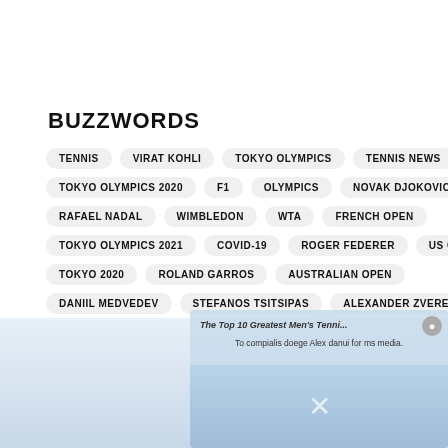BUZZWORDS
TENNIS
VIRAT KOHLI
TOKYO OLYMPICS
TENNIS NEWS
ATP
TOKYO OLYMPICS 2020
F1
OLYMPICS
NOVAK DJOKOVIC
RAFAEL NADAL
WIMBLEDON
WTA
FRENCH OPEN
TOKYO OLYMPICS 2021
COVID-19
ROGER FEDERER
US OPEN
TOKYO 2020
ROLAND GARROS
AUSTRALIAN OPEN
DANIIL MEDVEDEV
STEFANOS TSITSIPAS
ALEXANDER ZVEREV
[Figure (screenshot): Popup overlay showing 'The Top 10 Greatest Men's Tennis...' article preview with close button and partial image of tennis players below]
[Figure (photo): Partial photo of tennis players at bottom of page, light blue background]